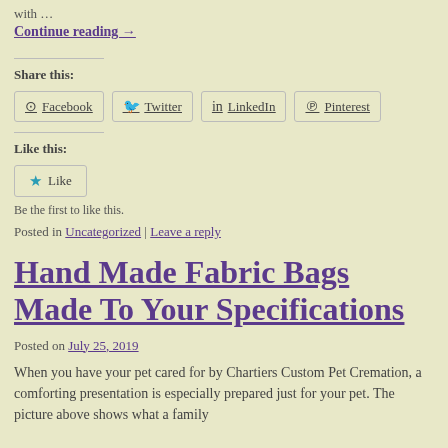with …
Continue reading →
Share this:
Facebook  Twitter  LinkedIn  Pinterest
Like this:
Like
Be the first to like this.
Posted in Uncategorized | Leave a reply
Hand Made Fabric Bags Made To Your Specifications
Posted on July 25, 2019
When you have your pet cared for by Chartiers Custom Pet Cremation, a comforting presentation is especially prepared just for your pet. The picture above shows what a family